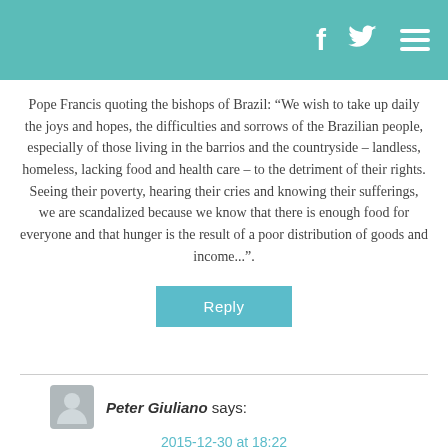Header bar with Facebook, Twitter, and menu icons
Pope Francis quoting the bishops of Brazil: “We wish to take up daily the joys and hopes, the difficulties and sorrows of the Brazilian people, especially of those living in the barrios and the countryside – landless, homeless, lacking food and health care – to the detriment of their rights. Seeing their poverty, hearing their cries and knowing their sufferings, we are scandalized because we know that there is enough food for everyone and that hunger is the result of a poor distribution of goods and income...”.
Reply
Peter Giuliano says:
2015-12-30 at 18:22
I’d love to know what person considers this work on slavery, or indeed any of the work presented by this excellent blog, naive. Sadly, it is a commonplace for those who lack a good